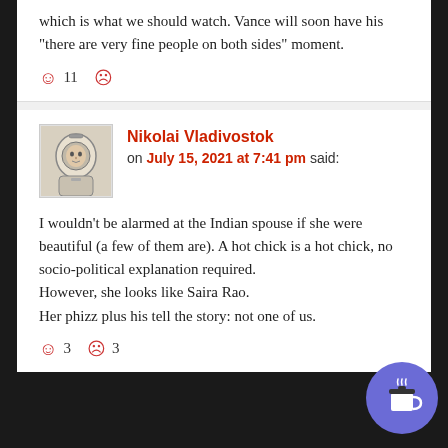which is what we should watch. Vance will soon have his “there are very fine people on both sides” moment.
☺ 11 ☹
Nikolai Vladivostok
on July 15, 2021 at 7:41 pm said:
[Figure (illustration): Avatar of a cosmonaut/astronaut figure in a space helmet, black and white sketch style]
I wouldn’t be alarmed at the Indian spouse if she were beautiful (a few of them are). A hot chick is a hot chick, no socio-political explanation required.
However, she looks like Saira Rao.
Her phizz plus his tell the story: not one of us.
☺ 3 ☹ 3